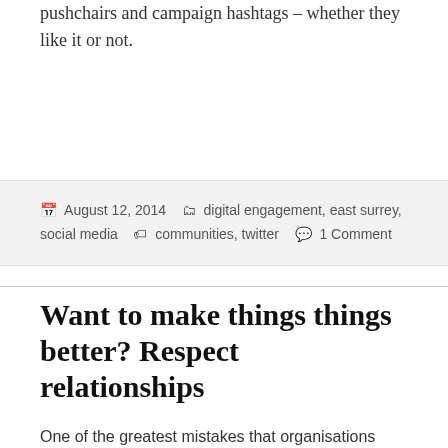pushchairs and campaign hashtags – whether they like it or not.
August 12, 2014   digital engagement, east surrey, social media   communities, twitter   1 Comment
Want to make things things better? Respect relationships
One of the greatest mistakes that organisations make is to assume that people are there for the cause.
People attract people. It's an oldie, but a goodie.